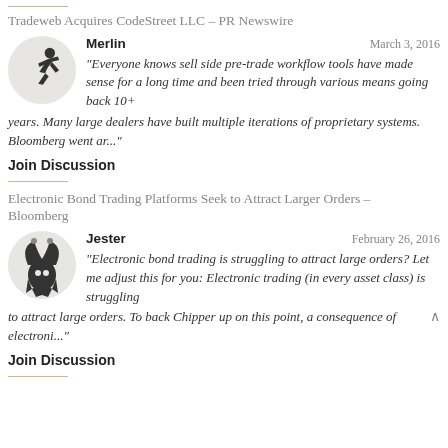Tradeweb Acquires CodeStreet LLC – PR Newswire
Merlin
March 3, 2016
"Everyone knows sell side pre-trade workflow tools have made sense for a long time and been tried through various means going back 10+ years. Many large dealers have built multiple iterations of proprietary systems. Bloomberg went ar..."
Join Discussion
Electronic Bond Trading Platforms Seek to Attract Larger Orders – Bloomberg
Jester
February 26, 2016
"Electronic bond trading is struggling to attract large orders? Let me adjust this for you: Electronic trading (in every asset class) is struggling to attract large orders. To back Chipper up on this point, a consequence of electroni..."
Join Discussion